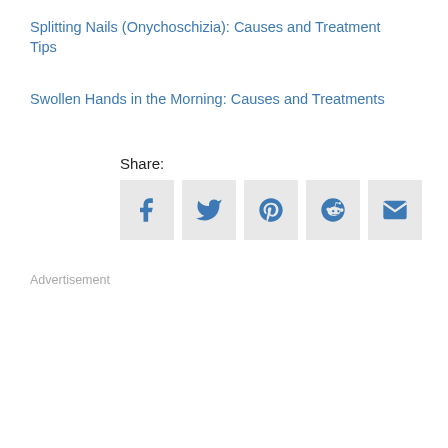Splitting Nails (Onychoschizia): Causes and Treatment Tips
Swollen Hands in the Morning: Causes and Treatments
[Figure (infographic): Share buttons row with label 'Share:' followed by icons for Facebook, Twitter, Pinterest, Reddit, and Email]
Advertisement